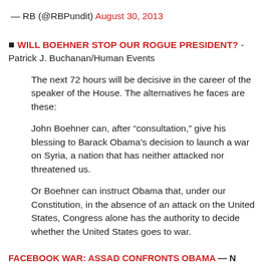— RB (@RBPundit) August 30, 2013
■ WILL BOEHNER STOP OUR ROGUE PRESIDENT? - Patrick J. Buchanan/Human Events
The next 72 hours will be decisive in the career of the speaker of the House. The alternatives he faces are these:
John Boehner can, after “consultation,” give his blessing to Barack Obama’s decision to launch a war on Syria, a nation that has neither attacked nor threatened us.
Or Boehner can instruct Obama that, under our Constitution, in the absence of an attack on the United States, Congress alone has the authority to decide whether the United States goes to war.
FACEBOOK WAR: ASSAD CONFRONTS OBAMA — N